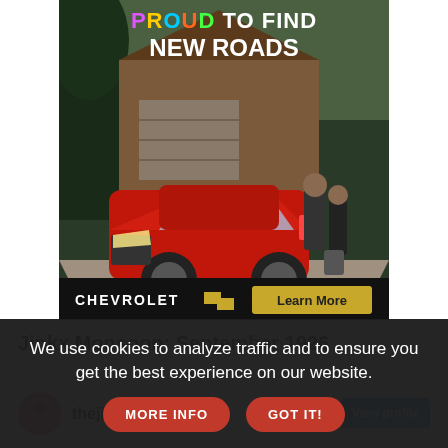[Figure (illustration): Chevrolet advertisement showing a red SUV (Chevy Equinox) parked in a driveway in front of a house. Text at top reads 'PROUD TO FIND NEW ROADS'. Bottom bar shows Chevrolet logo with bowtie emblem and a gold 'Learn More' button.]
Jinkx Monsoon: September 1926
[Figure (photo): Profile row showing circular pink avatar with icon for thejinkx account with blue verified checkmark, and a partially visible blue 'View profile' button on the right.]
We use cookies to analyze traffic and to ensure you get the best experience on our website.
MORE INFO
GOT IT!